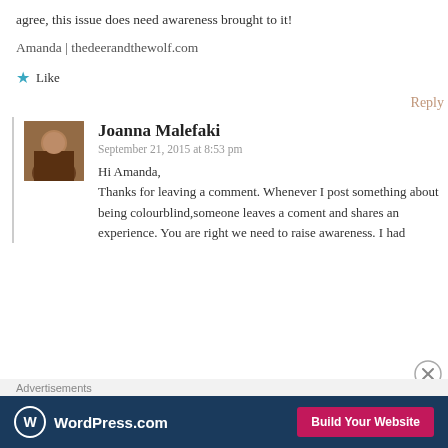agree, this issue does need awareness brought to it!
Amanda | thedeerandthewolf.com
★ Like
Reply
Joanna Malefaki
September 21, 2015 at 8:53 pm
Hi Amanda,
Thanks for leaving a comment. Whenever I post something about being colourblind, someone leaves a coment and shares an experience. You are right we need to raise awareness. I had
Advertisements
[Figure (logo): WordPress.com advertisement banner with logo and Build Your Website button]